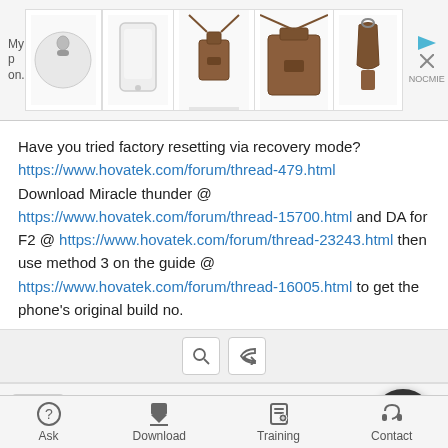[Figure (screenshot): Ad banner with product images (round tracker, phone case, bags, key fob) and navigation controls]
Have you tried factory resetting via recovery mode?
https://www.hovatek.com/forum/thread-479.html
Download Miracle thunder @ https://www.hovatek.com/forum/thread-15700.html and DA for F2 @ https://www.hovatek.com/forum/thread-23243.html then use method 3 on the guide @ https://www.hovatek.com/forum/thread-16005.html to get the phone's original build no.
[Figure (screenshot): Action buttons: search icon and reply icon on grey bar]
yvane
Enthusiastic Member
01-06-2019, 06:09 AM
#6
Ask  Download  Training  Contact